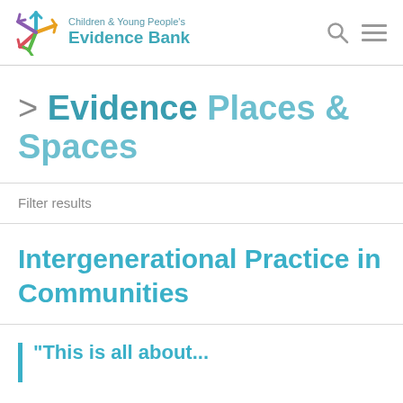Children & Young People's Evidence Bank
> Evidence Places & Spaces
Filter results
Intergenerational Practice in Communities
"This is all about...